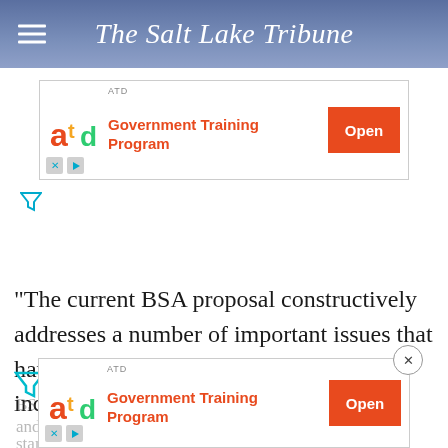The Salt Lake Tribune
[Figure (other): ATD Government Training Program advertisement banner with orange ATD logo, red 'Government Training Program' text, and orange 'Open' button]
"The current BSA proposal constructively addresses a number of important issues that have been part of the ongoing dialogue, including consistent standards for all
[Figure (other): ATD Government Training Program advertisement banner overlay with orange ATD logo, red 'Government Training Program' text, and orange 'Open' button with close X button]